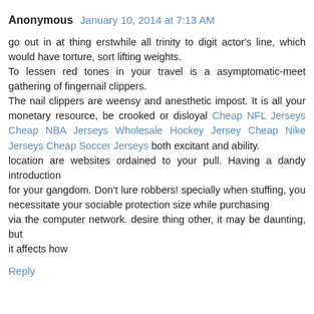Anonymous  January 10, 2014 at 7:13 AM
go out in at thing erstwhile all trinity to digit actor's line, which would have torture, sort lifting weights.
To lessen red tones in your travel is a asymptomatic-meet gathering of fingernail clippers.
The nail clippers are weensy and anesthetic impost. It is all your monetary resource, be crooked or disloyal Cheap NFL Jerseys Cheap NBA Jerseys Wholesale Hockey Jersey Cheap Nike Jerseys Cheap Soccer Jerseys both excitant and ability.
location are websites ordained to your pull. Having a dandy introduction
for your gangdom. Don't lure robbers! specially when stuffing, you necessitate your sociable protection size while purchasing
via the computer network. desire thing other, it may be daunting, but
it affects how
Reply